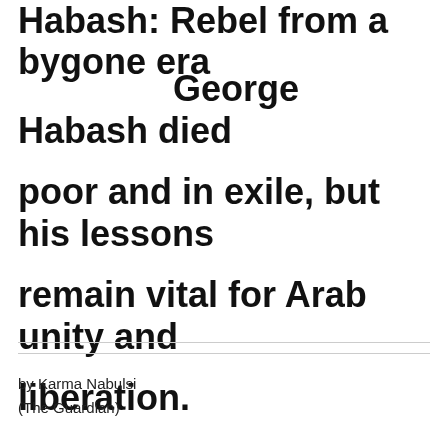Habash: Rebel from a bygone era
George Habash died poor and in exile, but his lessons remain vital for Arab unity and liberation.
by Karma Nabulsi
(The Guardian)